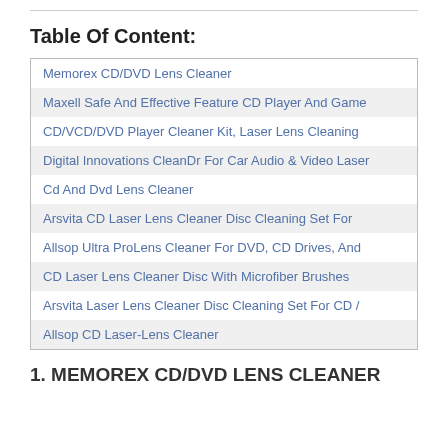Table Of Content:
Memorex CD/DVD Lens Cleaner
Maxell Safe And Effective Feature CD Player And Game
CD/VCD/DVD Player Cleaner Kit, Laser Lens Cleaning
Digital Innovations CleanDr For Car Audio & Video Laser
Cd And Dvd Lens Cleaner
Arsvita CD Laser Lens Cleaner Disc Cleaning Set For
Allsop Ultra ProLens Cleaner For DVD, CD Drives, And
CD Laser Lens Cleaner Disc With Microfiber Brushes
Arsvita Laser Lens Cleaner Disc Cleaning Set For CD /
Allsop CD Laser-Lens Cleaner
1. MEMOREX CD/DVD LENS CLEANER